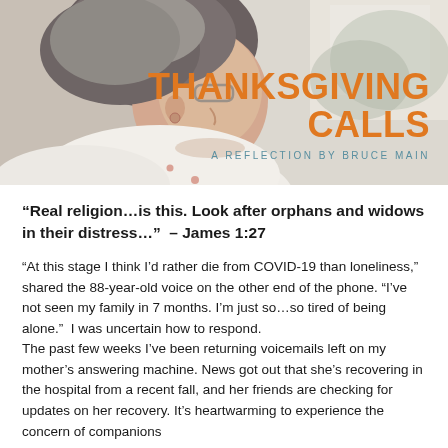[Figure (photo): Elderly woman looking out a window, profile view, wearing glasses and a white polka-dot scarf, with soft natural light from the window. Photo is used as a banner at the top of the page.]
THANKSGIVING CALLS
A REFLECTION BY BRUCE MAIN
“Real religion…is this. Look after orphans and widows in their distress…”  – James 1:27
“At this stage I think I’d rather die from COVID-19 than loneliness,” shared the 88-year-old voice on the other end of the phone. “I’ve not seen my family in 7 months. I’m just so…so tired of being alone.”  I was uncertain how to respond.
The past few weeks I’ve been returning voicemails left on my mother’s answering machine. News got out that she’s recovering in the hospital from a recent fall, and her friends are checking for updates on her recovery. It’s heartwarming to experience the concern of companions